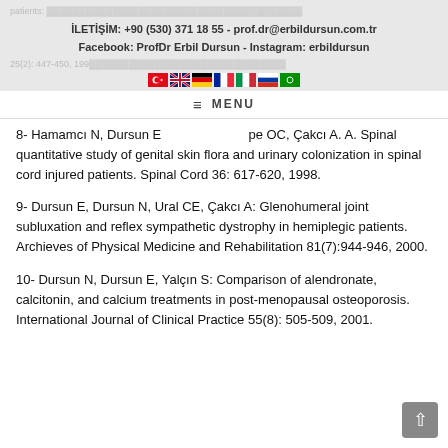İLETİŞİM: +90 (530) 371 18 55 - prof.dr@erbildursun.com.tr
Facebook: ProfDr Erbil Dursun - Instagram: erbildursun
8- Hamamcı N, Dursun E … pe OC, Çakcı A. A. Spinal quantitative study of genital skin flora and urinary colonization in spinal cord injured patients. Spinal Cord 36: 617-620, 1998.
9- Dursun E, Dursun N, Ural CE, Çakcı A: Glenohumeral joint subluxation and reflex sympathetic dystrophy in hemiplegic patients. Archieves of Physical Medicine and Rehabilitation 81(7):944-946, 2000.
10- Dursun N, Dursun E, Yalçın S: Comparison of alendronate, calcitonin, and calcium treatments in post-menopausal osteoporosis. International Journal of Clinical Practice 55(8): 505-509, 2001.